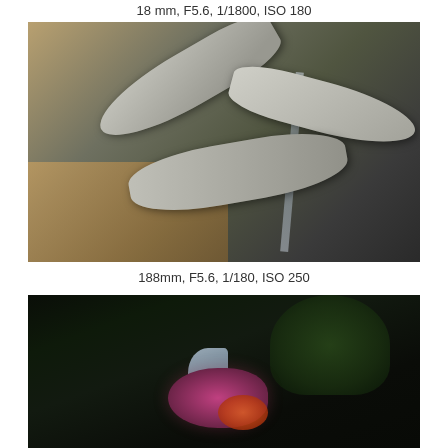18 mm, F5.6, 1/1800, ISO 180
[Figure (photo): Close-up macro photograph of a starfish resting on a glass surface, showing textured spiny arms in grayscale tones with a warm brown background and glass reflections. Shot with 188mm lens.]
188mm, F5.6, 1/180, ISO 250
[Figure (photo): Dark underwater or aquarium photograph showing a colorful fish with purple/pink and orange coloring among dark green foliage/plants in very low light conditions.]